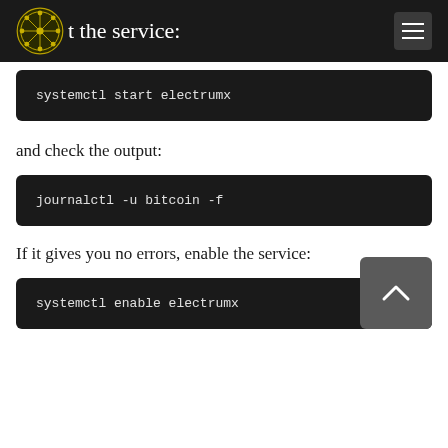t the service:
systemctl start electrumx
and check the output:
journalctl -u bitcoin -f
If it gives you no errors, enable the service:
systemctl enable electrumx